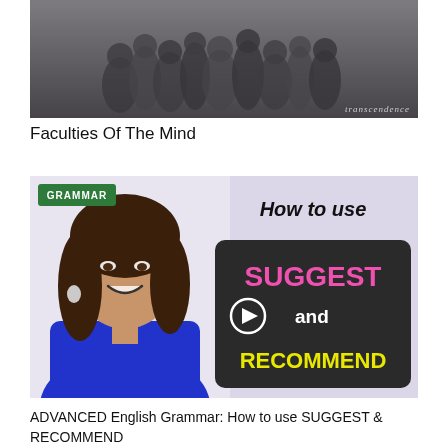[Figure (photo): Black and white photo of a group of people, with 'transcendence' text at the bottom right]
Faculties Of The Mind
[Figure (screenshot): Video thumbnail showing a woman in a blue top, with a green GRAMMAR badge, text overlay reading 'How to use SUGGEST and RECOMMEND' with pink and yellow text on a dark box, and a play button icon]
ADVANCED English Grammar: How to use SUGGEST & RECOMMEND